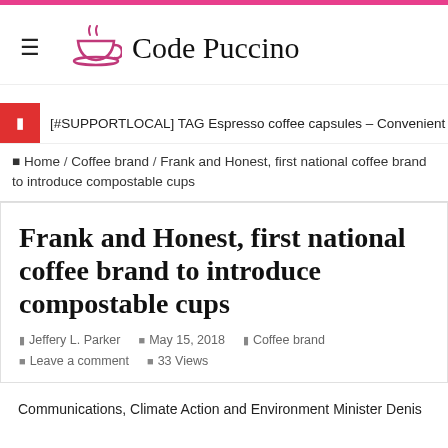Code Puccino
[#SUPPORTLOCAL] TAG Espresso coffee capsules – Convenient and fun, no
Home / Coffee brand / Frank and Honest, first national coffee brand to introduce compostable cups
Frank and Honest, first national coffee brand to introduce compostable cups
Jeffery L. Parker   May 15, 2018   Coffee brand   Leave a comment   33 Views
Communications, Climate Action and Environment Minister Denis